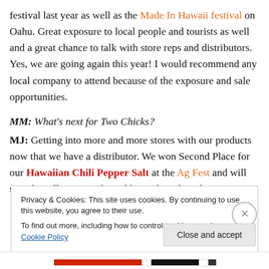festival last year as well as the Made In Hawaii festival on Oahu. Great exposure to local people and tourists as well and a great chance to talk with store reps and distributors. Yes, we are going again this year! I would recommend any local company to attend because of the exposure and sale opportunities.
MM: What's next for Two Chicks?
MJ: Getting into more and more stores with our products now that we have a distributor. We won Second Place for our Hawaiian Chili Pepper Salt at the Ag Fest and will soon be selling our salt, pickles and Backyard Juice to
Privacy & Cookies: This site uses cookies. By continuing to use this website, you agree to their use. To find out more, including how to control cookies, see here: Cookie Policy
Close and accept